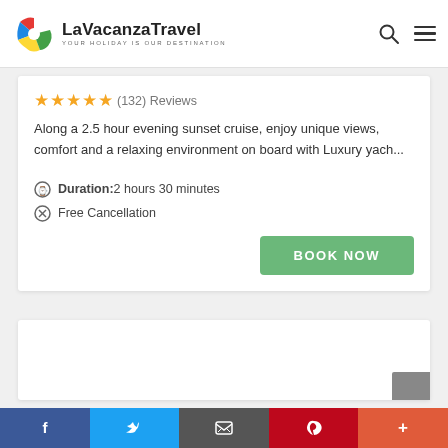[Figure (logo): LaVacanzaTravel logo with colorful icon and tagline YOUR HOLIDAY IS OUR DESTINATION]
★★★★★ (132) Reviews
Along a 2.5 hour evening sunset cruise, enjoy unique views, comfort and a relaxing environment on board with Luxury yach...
Duration:2 hours 30 minutes
Free Cancellation
BOOK NOW